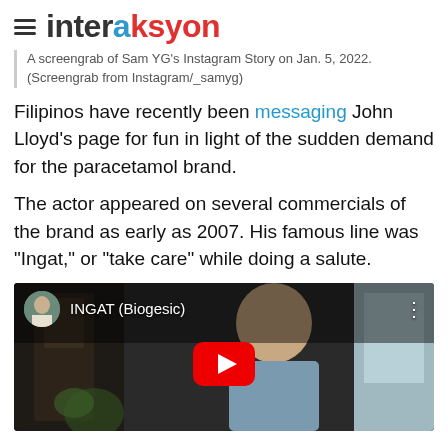interaksyon
A screengrab of Sam YG's Instagram Story on Jan. 5, 2022. (Screengrab from Instagram/_samyg)
Filipinos have recently been messaging John Lloyd's page for fun in light of the sudden demand for the paracetamol brand.
The actor appeared on several commercials of the brand as early as 2007. His famous line was "Ingat," or "take care" while doing a salute.
[Figure (screenshot): YouTube video thumbnail showing a man (John Lloyd Cruz) with title 'INGAT (Biogeosic)' and a YouTube play button in the center]